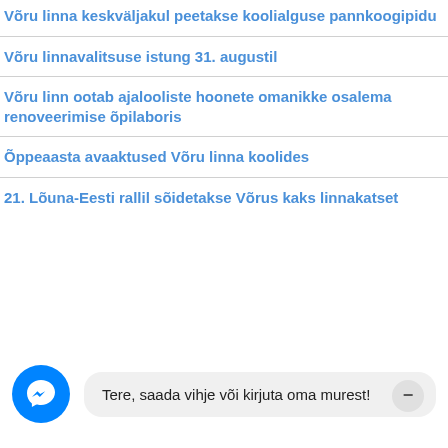Võru linna keskväljakul peetakse koolialguse pannkoogipidu
Võru linnavalitsuse istung 31. augustil
Võru linn ootab ajalooliste hoonete omanikke osalema renoveerimise õpilaboris
Õppeaasta avaaktused Võru linna koolides
21. Lõuna-Eesti rallil sõidetakse Võrus kaks linnakatset
Tere, saada vihje või kirjuta oma murest!